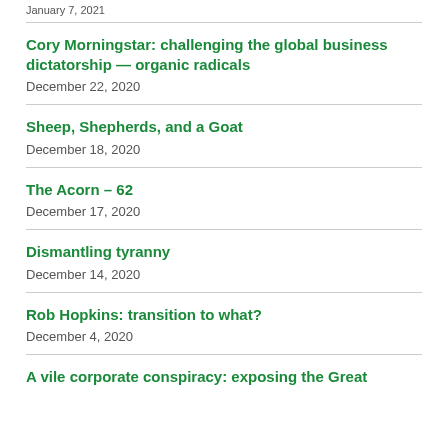January 7, 2021
Cory Morningstar: challenging the global business dictatorship — organic radicals
December 22, 2020
Sheep, Shepherds, and a Goat
December 18, 2020
The Acorn – 62
December 17, 2020
Dismantling tyranny
December 14, 2020
Rob Hopkins: transition to what?
December 4, 2020
A vile corporate conspiracy: exposing the Great